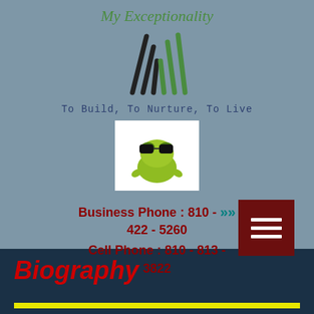My Exceptionality
[Figure (logo): Abstract mountain/book logo with black and green diagonal lines forming an M shape]
To Build, To Nurture, To Live
[Figure (photo): Cartoon frog wearing sunglasses on white background]
[Figure (other): Dark red hamburger menu button with three white horizontal lines]
Business Phone : 810 - 422 - 5260
Cell Phone : 810 - 813 - 3822
Biography